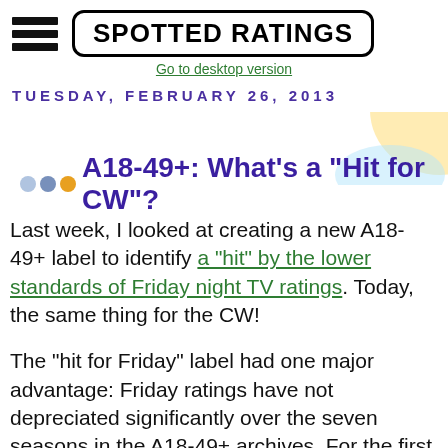SPOTTED RATINGS
Go to desktop version
TUESDAY, FEBRUARY 26, 2013
A18-49+: What's a "Hit for CW"?
Last week, I looked at creating a new A18-49+ label to identify a "hit" by the lower standards of Friday night TV ratings. Today, the same thing for the CW!
The "hit for Friday" label had one major advantage: Friday ratings have not depreciated significantly over the seven seasons in the A18-49+ archives. For the first few years of this period, it looked like they were, but they bottomed out in 2009-10, and this will almost certainly mark a third straight season of relative